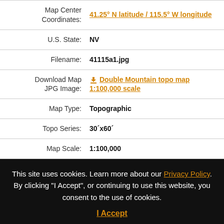| Field | Value |
| --- | --- |
| Map Center Coordinates: | 41.25° N latitude / 115.5° W longitude |
| U.S. State: | NV |
| Filename: | 41115a1.jpg |
| Download Map JPG Image: | Double Mountain topo map 1:100,000 scale |
| Map Type: | Topographic |
| Topo Series: | 30´x60´ |
| Map Scale: | 1:100,000 |
This site uses cookies. Learn more about our Privacy Policy. By clicking "I Accept", or continuing to use this website, you consent to the use of cookies.
I Accept